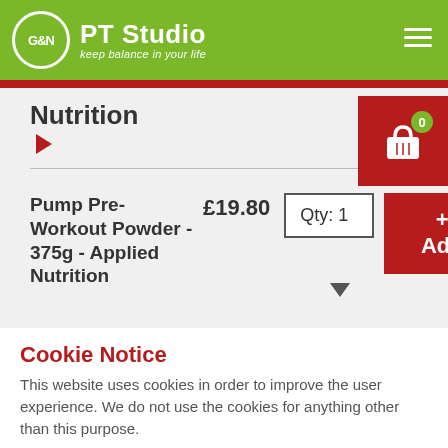G&N PT Studio - keep balance in your life
Nutrition
Pump Pre-Workout Powder - 375g - Applied Nutrition   £19.80   Qty: 1   + Add
Cookie Notice
This website uses cookies in order to improve the user experience. We do not use the cookies for anything other than this purpose.
Accept Cookies